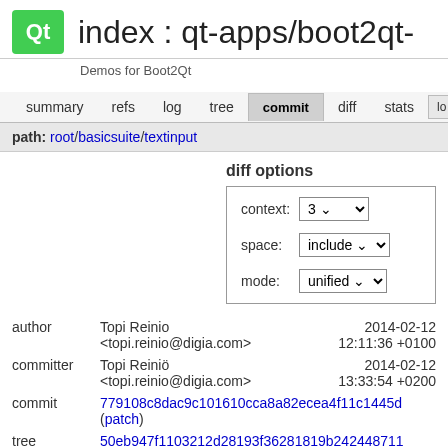index : qt-apps/boot2qt-
Demos for Boot2Qt
summary  refs  log  tree  commit  diff  stats  log
path: root/basicsuite/textinput
diff options
| label | value |
| --- | --- |
| context: | 3 |
| space: | include |
| mode: | unified |
| field | value | date |
| --- | --- | --- |
| author | Topi Reinio
<topi.reinio@digia.com> | 2014-02-12
12:11:36 +0100 |
| committer | Topi Reiniö
<topi.reinio@digia.com> | 2014-02-12
13:33:54 +0200 |
| commit | 779108c8dac9c101610cca8a82ecea4f11c1445d
(patch) |  |
| tree | 50eb947f1103212d28193f36281819b242448711
/basicsuite/textinput |  |